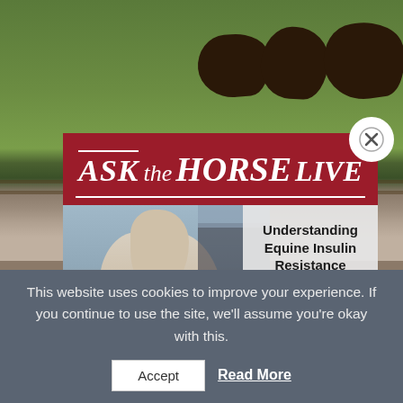[Figure (photo): Background photo of dark horses grazing in a green field with blue sky]
[Figure (illustration): Ask the Horse Live modal advertisement with white horse photo, red header banner with 'ASK the HORSE LIVE' text, info panel showing 'Understanding Equine Insulin Resistance', Thursday Sept. 8, 8 p.m. EDT, Sponsored by: Wellness Ready, and Submit Question button. Close X button in top right corner.]
Weani
Septemb
This website uses cookies to improve your experience. If you continue to use the site, we'll assume you're okay with this.
Accept
Read More